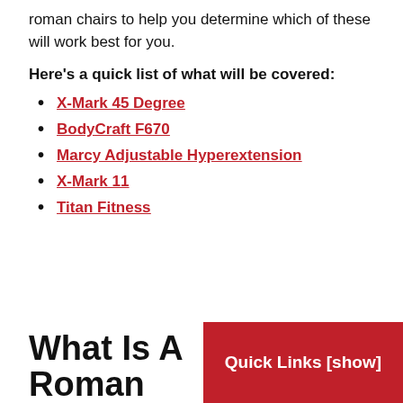roman chairs to help you determine which of these will work best for you.
Here's a quick list of what will be covered:
X-Mark 45 Degree
BodyCraft F670
Marcy Adjustable Hyperextension
X-Mark 11
Titan Fitness
What Is A Roman
Quick Links [show]